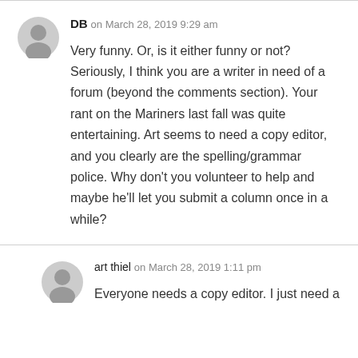DB on March 28, 2019 9:29 am
Very funny. Or, is it either funny or not? Seriously, I think you are a writer in need of a forum (beyond the comments section). Your rant on the Mariners last fall was quite entertaining. Art seems to need a copy editor, and you clearly are the spelling/grammar police. Why don't you volunteer to help and maybe he'll let you submit a column once in a while?
art thiel on March 28, 2019 1:11 pm
Everyone needs a copy editor. I just need a